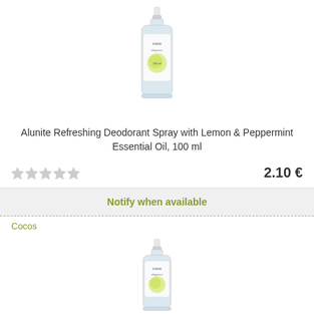[Figure (photo): Spray bottle of Cocos deodorant with lemon label, transparent bottle with white pump cap]
Alunite Refreshing Deodorant Spray with Lemon & Peppermint Essential Oil, 100 ml
2.10 €
Notify when available
Cocos
[Figure (photo): Second spray bottle of Cocos deodorant with lemon label, transparent bottle with white pump cap]